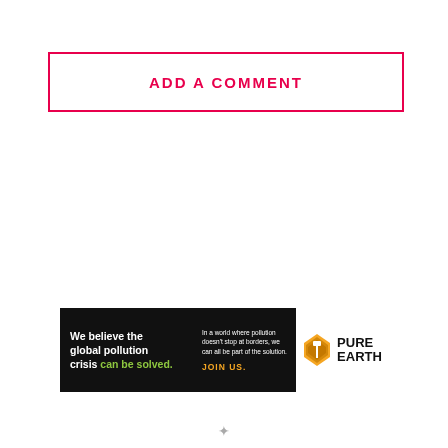ADD A COMMENT
[Figure (illustration): Pure Earth advertisement banner. Black left section reads: 'We believe the global pollution crisis can be solved.' with 'can be solved.' in green. Center text: 'In a world where pollution doesn't stop at borders, we can all be part of the solution. JOIN US.' White right section with Pure Earth logo (diamond shape with shovel icon) and text 'PURE EARTH'.]